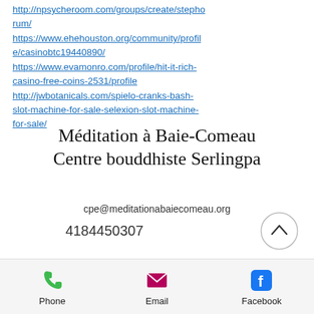http://npsycheroom.com/groups/create/stepho rum/
https://www.ehehouston.org/community/profile/casinobtc19440890/
https://www.evamonro.com/profile/hit-it-rich-casino-free-coins-2531/profile
http://jwbotanicals.com/spielo-cranks-bash-slot-machine-for-sale-selexion-slot-machine-for-sale/
Méditation à Baie-Comeau Centre bouddhiste Serlingpa
cpe@meditationabaiecomeau.org
4184450307
Phone    Email    Facebook